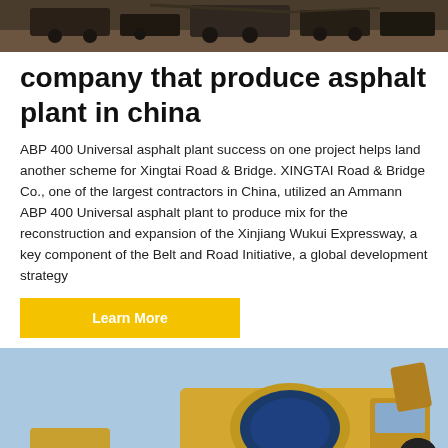[Figure (photo): Top partial image of construction/asphalt plant equipment on dark ground background]
company that produce asphalt plant in china
ABP 400 Universal asphalt plant success on one project helps land another scheme for Xingtai Road & Bridge. XINGTAI Road & Bridge Co., one of the largest contractors in China, utilized an Ammann ABP 400 Universal asphalt plant to produce mix for the reconstruction and expansion of the Xinjiang Wukui Expressway, a key component of the Belt and Road Initiative, a global development strategy
Learn More
[Figure (photo): Bottom partial image of yellow construction/asphalt plant machinery against blue sky, with dark circular scroll-to-top button in lower right corner]